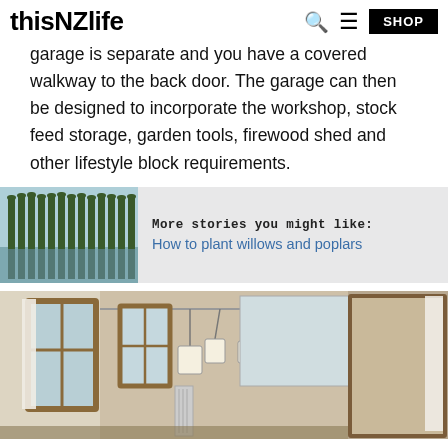thisNZlife
garage is separate and you have a covered walkway to the back door. The garage can then be designed to incorporate the workshop, stock feed storage, garden tools, firewood shed and other lifestyle block requirements.
[Figure (photo): Row of tall poplar or willow trees reflected in water, landscape photo used as thumbnail for related article]
More stories you might like: How to plant willows and poplars
[Figure (photo): Interior bathroom or laundry room with wooden-framed windows, pendant lights, mirror, and tiled surfaces]